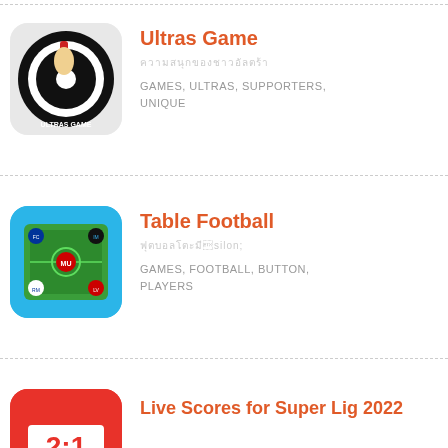[Figure (logo): Ultras Game app icon - black and white circular logo with fist holding torch]
Ultras Game
Thai script subtitle for Ultras Game
GAMES, ULTRAS, SUPPORTERS, UNIQUE
[Figure (logo): Table Football app icon - blue background with green football pitch and team badge buttons]
Table Football
Thai script subtitle for Table Football
GAMES, FOOTBALL, BUTTON, PLAYERS
[Figure (logo): Live Scores for Super Lig 2022 app icon - red background with white box showing score 2:1]
Live Scores for Super Lig 2022